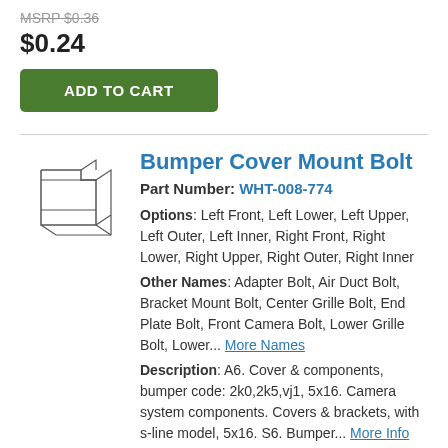MSRP $0.36
$0.24
ADD TO CART
Bumper Cover Mount Bolt
Part Number: WHT-008-774
Options: Left Front, Left Lower, Left Upper, Left Outer, Left Inner, Right Front, Right Lower, Right Upper, Right Outer, Right Inner
Other Names: Adapter Bolt, Air Duct Bolt, Bracket Mount Bolt, Center Grille Bolt, End Plate Bolt, Front Camera Bolt, Lower Grille Bolt, Lower... More Names
Description: A6. Cover & components, bumper code: 2k0,2k5,vj1, 5x16. Camera system components. Covers & brackets, with s-line model, 5x16. S6. Bumper... More Info
MSRP $4.00
$2.66